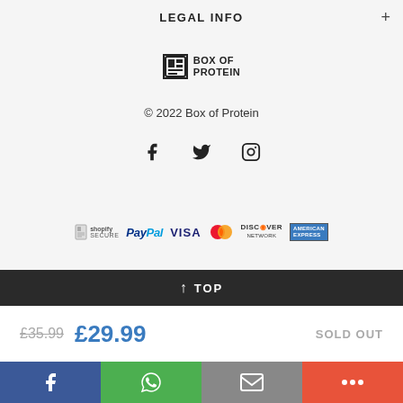LEGAL INFO
[Figure (logo): Box of Protein logo with icon and text]
© 2022 Box of Protein
[Figure (illustration): Social media icons: Facebook, Twitter, Instagram]
[Figure (illustration): Payment method logos: Shopify Secure, PayPal, VISA, MasterCard, Discover Network, American Express]
↑ TOP
£35.99  £29.99  SOLD OUT
[Figure (illustration): Bottom share bar with Facebook, WhatsApp, Email, and More buttons]